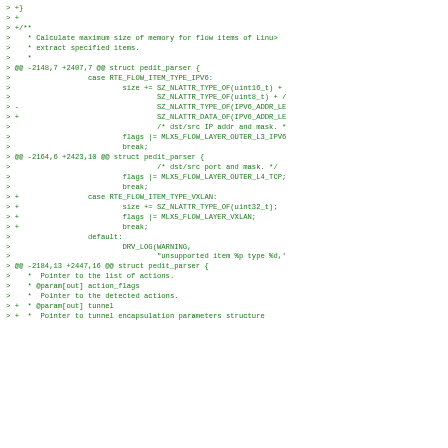Code diff showing changes to pedit_parser struct including flow item type handling for IPV6 and VXLAN, and updates to struct documentation.